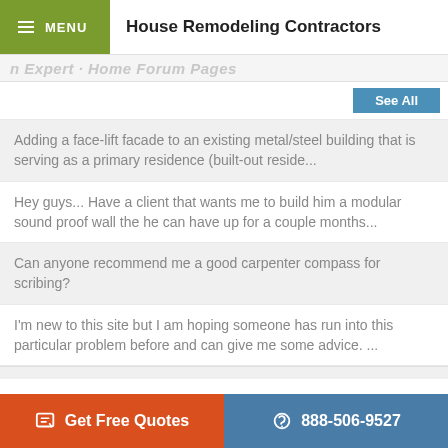MENU  House Remodeling Contractors
Adding a face-lift facade to an existing metal/steel building that is serving as a primary residence (built-out reside...
Hey guys... Have a client that wants me to build him a modular sound proof wall the he can have up for a couple months...
Can anyone recommend me a good carpenter compass for scribing?
I'm new to this site but I am hoping someone has run into this particular problem before and can give me some advice. ...
Get Free Quotes   888-506-9527